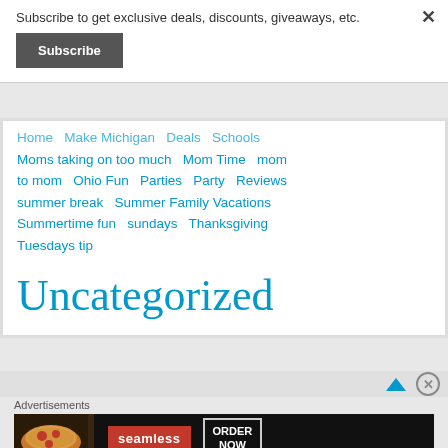Subscribe to get exclusive deals, discounts, giveaways, etc.
Subscribe
Moms taking on too much  Mom Time  mom to mom  Ohio Fun  Parties  Party  Reviews  summer break  Summer Family Vacations  Summertime fun  sundays  Thanksgiving  Tuesdays tip
Uncategorized
Advertisements